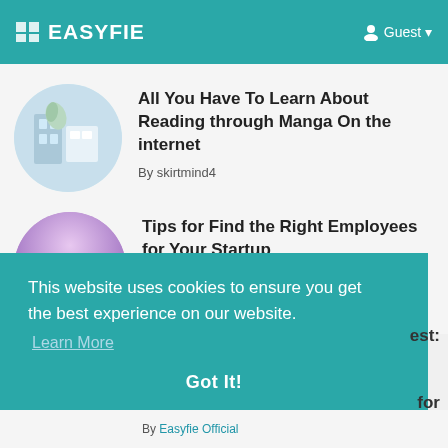EASYFIE | Guest
All You Have To Learn About Reading through Manga On the internet
By skirtmind4
Tips for Find the Right Employees for Your Startup
By Easyfie Official
This website uses cookies to ensure you get the best experience on our website. Learn More
Got It!
By Easyfie Official